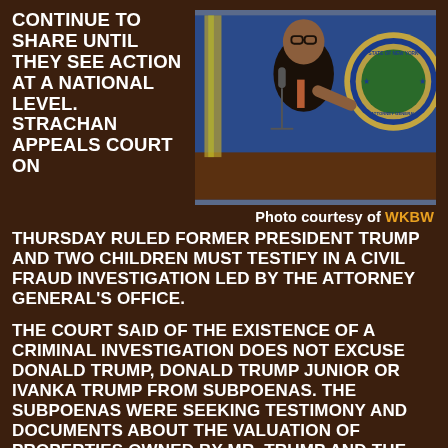CONTINUE TO SHARE UNTIL THEY SEE ACTION AT A NATIONAL LEVEL. STRACHAN APPEALS COURT ON
[Figure (photo): Woman speaking at a podium with microphone, pointing, wearing glasses and dark suit jacket with coral/orange accent. Behind her is an American flag and the New York State Attorney General official seal on a blue background.]
Photo courtesy of WKBW
THURSDAY RULED FORMER PRESIDENT TRUMP AND TWO CHILDREN MUST TESTIFY IN A CIVIL FRAUD INVESTIGATION LED BY THE ATTORNEY GENERAL'S OFFICE.
THE COURT SAID OF THE EXISTENCE OF A CRIMINAL INVESTIGATION DOES NOT EXCUSE DONALD TRUMP, DONALD TRUMP JUNIOR OR IVANKA TRUMP FROM SUBPOENAS. THE SUBPOENAS WERE SEEKING TESTIMONY AND DOCUMENTS ABOUT THE VALUATION OF PROPERTIES OWNED BY MR. TRUMP AND THE